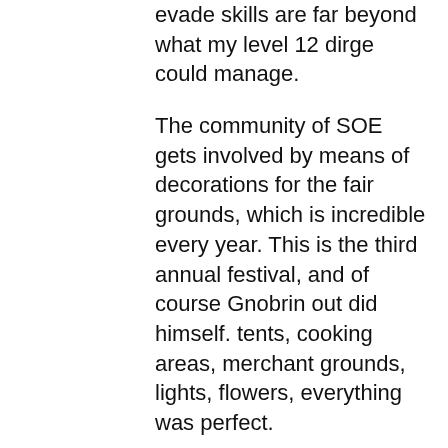evade skills are far beyond what my level 12 dirge could manage.
The community of SOE gets involved by means of decorations for the fair grounds, which is incredible every year. This is the third annual festival, and of course Gnobrin out did himself. tents, cooking areas, merchant grounds, lights, flowers, everything was perfect.
If you're not on Antonia Bayle but would like to listen to the public announcements (which are always humorous) and see what else is going on you are more then welcome to join their festival channel: /join antonia_bayle.festival. Of course if you're like me the first thing you did upon hearing about this festival (since I no longer technically play on AB) is rush right out and create a character. Thankfully Malfi had some spare party